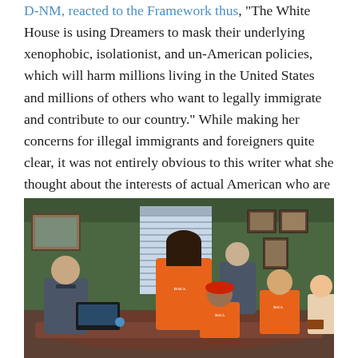D-NM, reacted to the Framework thus, "The White House is using Dreamers to mask their underlying xenophobic, isolationist, and un-American policies, which will harm millions living in the United States and millions of others who want to legally immigrate and contribute to our country." While making her concerns for illegal immigrants and foreigners quite clear, it was not entirely obvious to this writer what she thought about the interests of actual American who are expected to pay for her desired massive Dreamer giveaway.
[Figure (photo): Photo of a group of people in an office setting. A young woman in an orange t-shirt stands and speaks at a conference table. Several other people, some also in orange shirts, sit around the table. The office has green walls, framed pictures, and a window with blinds.]